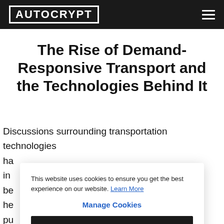AUTOCRYPT
The Rise of Demand-Responsive Transport and the Technologies Behind It
Discussions surrounding transportation technologies ha... in... be... he... pu... th... in... automation, and connection. Yet, the automotive
This website uses cookies to ensure you get the best experience on our website. Learn More
Manage Cookies
Decline
Allow All
×